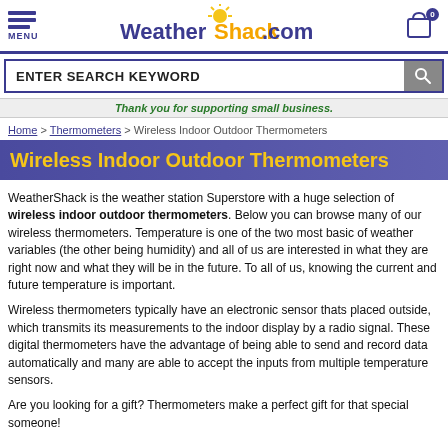WeatherShack.com — MENU | Cart: 0
ENTER SEARCH KEYWORD
Thank you for supporting small business.
Home > Thermometers > Wireless Indoor Outdoor Thermometers
Wireless Indoor Outdoor Thermometers
WeatherShack is the weather station Superstore with a huge selection of wireless indoor outdoor thermometers. Below you can browse many of our wireless thermometers. Temperature is one of the two most basic of weather variables (the other being humidity) and all of us are interested in what they are right now and what they will be in the future. To all of us, knowing the current and future temperature is important.
Wireless thermometers typically have an electronic sensor thats placed outside, which transmits its measurements to the indoor display by a radio signal. These digital thermometers have the advantage of being able to send and record data automatically and many are able to accept the inputs from multiple temperature sensors.
Are you looking for a gift? Thermometers make a perfect gift for that special someone!